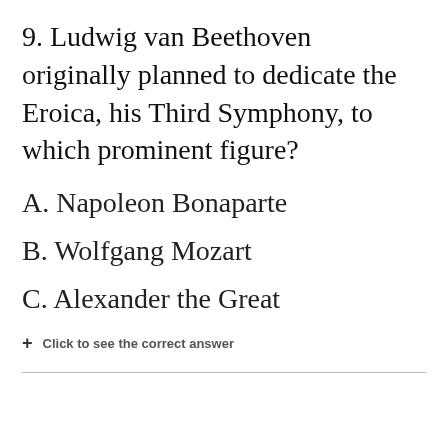9. Ludwig van Beethoven originally planned to dedicate the Eroica, his Third Symphony, to which prominent figure?
A. Napoleon Bonaparte
B. Wolfgang Mozart
C. Alexander the Great
+ Click to see the correct answer